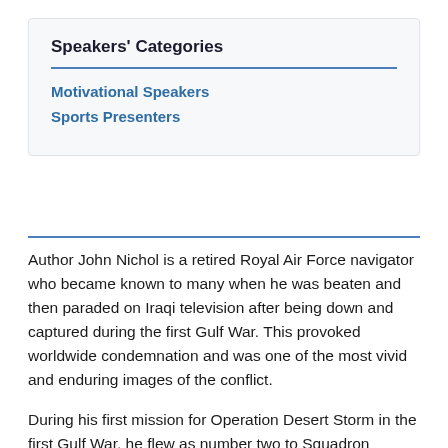Speakers' Categories
Motivational Speakers
Sports Presenters
Author John Nichol is a retired Royal Air Force navigator who became known to many when he was beaten and then paraded on Iraqi television after being down and captured during the first Gulf War. This provoked worldwide condemnation and was one of the most vivid and enduring images of the conflict.
During his first mission for Operation Desert Storm in the first Gulf War, he flew as number two to Squadron Leader Paul 'Pablo' Mason on an ultra-low-level sortie against Ar Rumaylah airfield in Southwest Iraq. During the flight, his Panavia Tornado ZD791 was shot down and if...